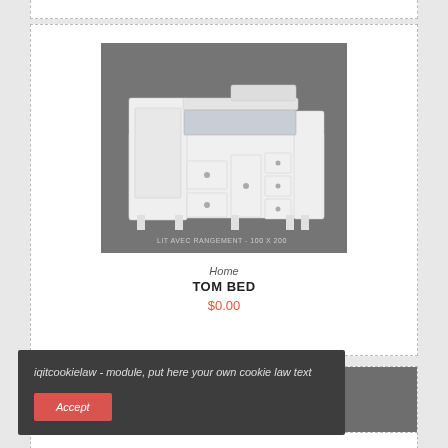[Figure (photo): White children's bed with storage drawers and side railings on a gray background. Caption reads: LIT AVEC RANGEMENT - 100 X 200]
Home
TOM BED
$0.00
iqitcookielaw - module, put here your own cookie law text
Accept